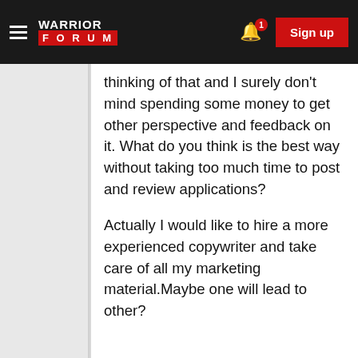[Figure (screenshot): Warrior Forum navigation bar with hamburger menu, logo, bell notification icon with badge '1', and red Sign up button]
thinking of that and I surely don't mind spending some money to get other perspective and feedback on it. What do you think is the best way without taking too much time to post and review applications?
Actually I would like to hire a more experienced copywriter and take care of all my marketing material.Maybe one will lead to other?